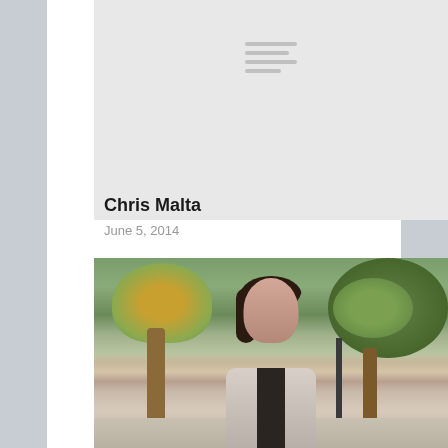[Figure (other): Light grey banner/header area with hamburger menu icon lines centered at top]
Chris Malta
June 5, 2014
[Figure (photo): Photo of a young woman with dark shoulder-length hair, wearing a light grey jacket, standing outdoors in a park with trees bearing autumn leaves in the background]